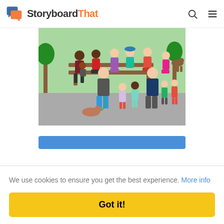StoryboardThat
[Figure (illustration): Cartoon illustration of diverse group of people including adults and children in a park setting with a bench, trees, and a dog]
[Figure (screenshot): Blue button strip partially visible]
We use cookies to ensure you get the best experience. More info
Got it!